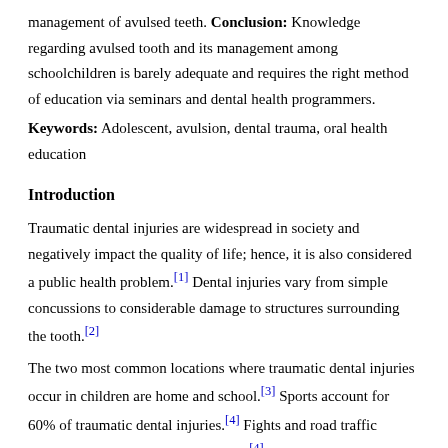management of avulsed teeth. Conclusion: Knowledge regarding avulsed tooth and its management among schoolchildren is barely adequate and requires the right method of education via seminars and dental health programmers.
Keywords: Adolescent, avulsion, dental trauma, oral health education
Introduction
Traumatic dental injuries are widespread in society and negatively impact the quality of life; hence, it is also considered a public health problem.[1] Dental injuries vary from simple concussions to considerable damage to structures surrounding the tooth.[2]
The two most common locations where traumatic dental injuries occur in children are home and school.[3] Sports account for 60% of traumatic dental injuries.[4] Fights and road traffic accidents are other potential reasons.[4] Anterior teeth are mostly affected due to trauma resulting in avulsion.[5] An avulsion is a complete detachment of a tooth from the socket due to trauma. In most cases, where the prognosis is poor, it is because children with avulsed teeth visit the dentist late for treatment due to lack of awareness and knowledge.